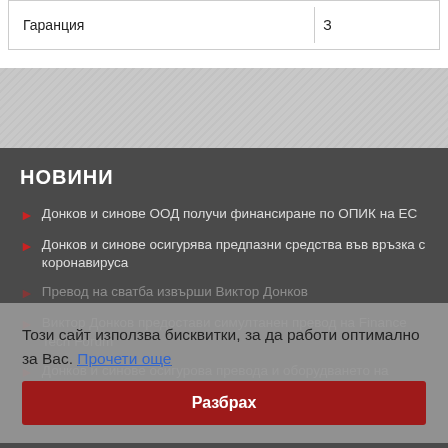| Гаранция | З |
| --- | --- |
НОВИНИ
Донков и синове ООД получи финансиране по ОПИК на ЕС
Донков и синове осигурява предпазни средства във връзка с коронавируса
Превод на сватба извърши Виктор Донков
Виктор Донков предостави симултанен превод на Finance Tech Forum
Донков и синове осигурова превода и оборудването на конференция за интелигентните градове
Този сайт използва бисквитки, за да работи оптимално за Вас. Прочети още
Разбрах